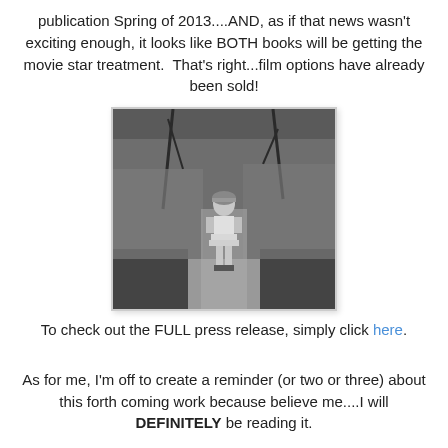publication Spring of 2013....AND, as if that news wasn't exciting enough, it looks like BOTH books will be getting the movie star treatment.  That's right...film options have already been sold!
[Figure (photo): Black and white photograph of a young girl in a dress standing on a path in a wooded area, looking at the camera.]
To check out the FULL press release, simply click here.
As for me, I'm off to create a reminder (or two or three) about this forth coming work because believe me....I will DEFINITELY be reading it.